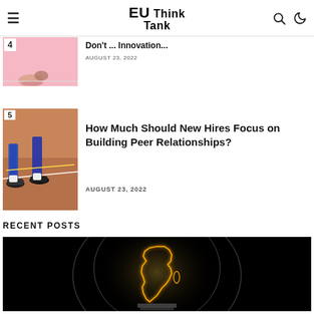EU Think Tank
[Figure (screenshot): Partial article thumbnail - pink background with shoe/ball]
Don't ... Innovation...
AUGUST 23, 2022
[Figure (photo): Article thumbnail showing athletes' feet on a track field, numbered 5]
How Much Should New Hires Focus on Building Peer Relationships?
AUGUST 23, 2022
RECENT POSTS
[Figure (photo): Dark background image of a light bulb with a glowing outline of Africa continent inside it]